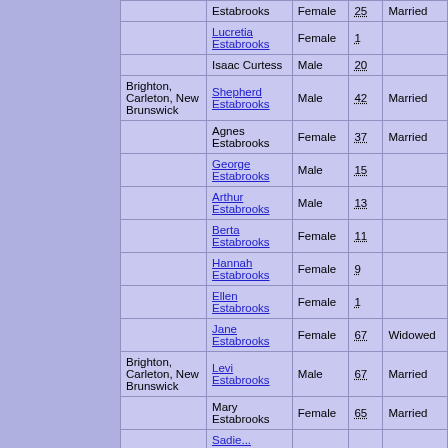| Place | Name | Sex | Age | Marital Status |
| --- | --- | --- | --- | --- |
|  | Estabrooks | Female | 25 | Married |
|  | Lucretia Estabrooks | Female | 1 |  |
|  | Isaac Curtess | Male | 20 |  |
| Brighton, Carleton, New Brunswick | Shepherd Estabrooks | Male | 42 | Married |
|  | Agnes Estabrooks | Female | 37 | Married |
|  | George Estabrooks | Male | 15 |  |
|  | Arthur Estabrooks | Male | 13 |  |
|  | Berta Estabrooks | Female | 11 |  |
|  | Hannah Estabrooks | Female | 9 |  |
|  | Ellen Estabrooks | Female | 1 |  |
|  | Jane Estabrooks | Female | 67 | Widowed |
| Brighton, Carleton, New Brunswick | Levi Estabrooks | Male | 67 | Married |
|  | Mary Estabrooks | Female | 65 | Married |
|  | Sadie... |  |  |  |